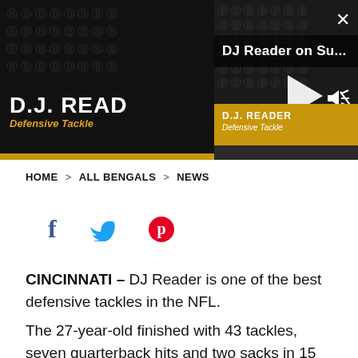[Figure (screenshot): Embedded video player showing DJ Reader press conference. Left panel shows dark background with 'D.J. READ' and 'Defensive Tackle' text. Right panel shows a Bengals-branded video with play button. Title bar reads 'DJ Reader on Su...' with close and volume controls. Golden info bar shows 'D.J. READER / Defensive Tackle'.]
HOME > ALL BENGALS > NEWS
[Figure (infographic): Social sharing icons: Facebook (f), Twitter bird, Pinterest (p)]
CINCINNATI – DJ Reader is one of the best defensive tackles in the NFL.
The 27-year-old finished with 43 tackles, seven quarterback hits and two sacks in 15